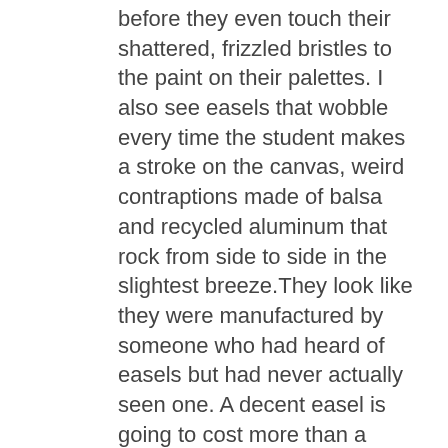before they even touch their shattered, frizzled bristles to the paint on their palettes. I also see easels that wobble every time the student makes a stroke on the canvas, weird contraptions made of balsa and recycled aluminum that rock from side to side in the slightest breeze.They look like they were manufactured by someone who had heard of easels but had never actually seen one. A decent easel is going to cost more than a toaster at WalMart, that's just a fact of life. Pharaoh taught the Israelites you cannot make bricks without straw.
Bargain canvas. I have seen students working on hyper absorbent canvas that sucks the life out of their paint. It is like painting on a loofah. The brush, instead of gliding sweetly over the canvas, scratches along like it is painting on sandpaper. You can buy a prestretched canvas at Michael's or Hobby Lobby for three dollars, but you shouldn't. If the gas it took you to drive to the